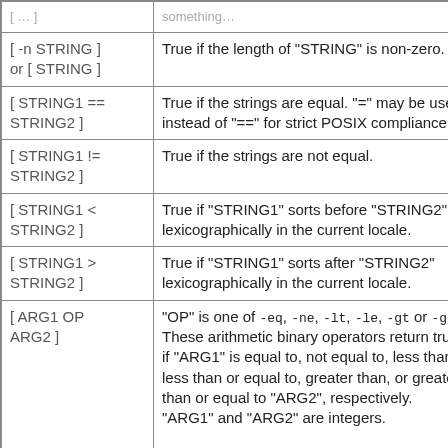| Syntax | Description |
| --- | --- |
| [ -n STRING ] or [ STRING ] | True if the length of "STRING" is non-zero. |
| [ STRING1 == STRING2 ] | True if the strings are equal. "=" may be used instead of "==" for strict POSIX compliance. |
| [ STRING1 != STRING2 ] | True if the strings are not equal. |
| [ STRING1 < STRING2 ] | True if "STRING1" sorts before "STRING2" lexicographically in the current locale. |
| [ STRING1 > STRING2 ] | True if "STRING1" sorts after "STRING2" lexicographically in the current locale. |
| [ ARG1 OP ARG2 ] | "OP" is one of -eq, -ne, -lt, -le, -gt or -ge. These arithmetic binary operators return true if "ARG1" is equal to, not equal to, less than, less than or equal to, greater than, or greater than or equal to "ARG2", respectively. "ARG1" and "ARG2" are integers. |